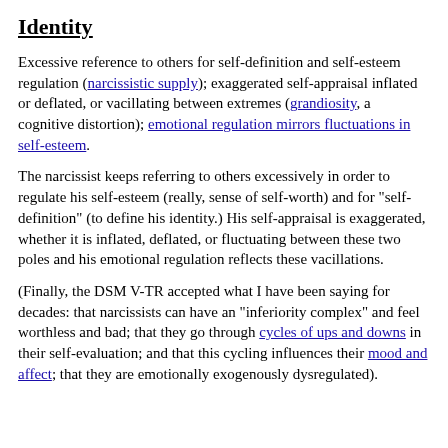Identity
Excessive reference to others for self-definition and self-esteem regulation (narcissistic supply); exaggerated self-appraisal inflated or deflated, or vacillating between extremes (grandiosity, a cognitive distortion); emotional regulation mirrors fluctuations in self-esteem.
The narcissist keeps referring to others excessively in order to regulate his self-esteem (really, sense of self-worth) and for "self-definition" (to define his identity.) His self-appraisal is exaggerated, whether it is inflated, deflated, or fluctuating between these two poles and his emotional regulation reflects these vacillations.
(Finally, the DSM V-TR accepted what I have been saying for decades: that narcissists can have an "inferiority complex" and feel worthless and bad; that they go through cycles of ups and downs in their self-evaluation; and that this cycling influences their mood and affect; that they are emotionally exogenously dysregulated).